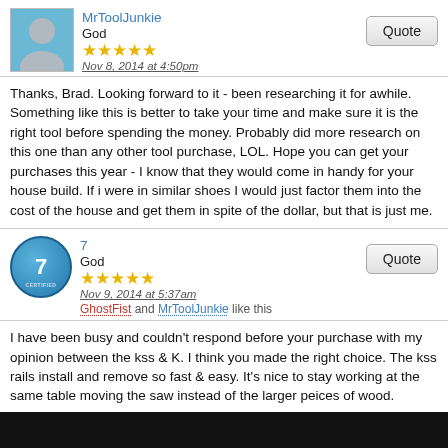MrToolJunkie
God
★★★★★
Nov 8, 2014 at 4:50pm
Thanks, Brad. Looking forward to it - been researching it for awhile. Something like this is better to take your time and make sure it is the right tool before spending the money. Probably did more research on this one than any other tool purchase, LOL. Hope you can get your purchases this year - I know that they would come in handy for your house build. If i were in similar shoes I would just factor them into the cost of the house and get them in spite of the dollar, but that is just me.
7
God
★★★★★
Nov 9, 2014 at 5:37am
GhostFist and MrToolJunkie like this
I have been busy and couldn't respond before your purchase with my opinion between the kss & K. I think you made the right choice. The kss rails install and remove so fast & easy. It's nice to stay working at the same table moving the saw instead of the larger peices of wood.